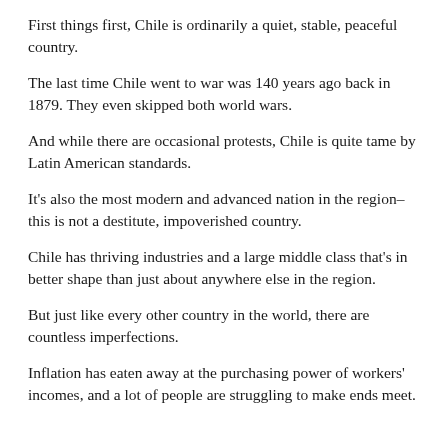First things first, Chile is ordinarily a quiet, stable, peaceful country.
The last time Chile went to war was 140 years ago back in 1879. They even skipped both world wars.
And while there are occasional protests, Chile is quite tame by Latin American standards.
It's also the most modern and advanced nation in the region– this is not a destitute, impoverished country.
Chile has thriving industries and a large middle class that's in better shape than just about anywhere else in the region.
But just like every other country in the world, there are countless imperfections.
Inflation has eaten away at the purchasing power of workers' incomes, and a lot of people are struggling to make ends meet.